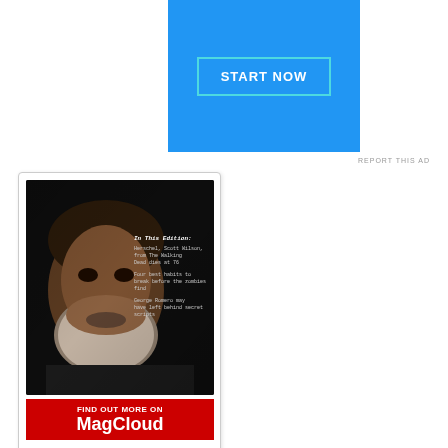[Figure (other): Blue advertisement banner with 'START NOW' button outlined in cyan]
REPORT THIS AD
[Figure (other): MagCloud advertisement card showing Zombie Apocalypse Monthly magazine cover with an elderly bearded man, with red 'FIND OUT MORE ON MagCloud' banner at bottom]